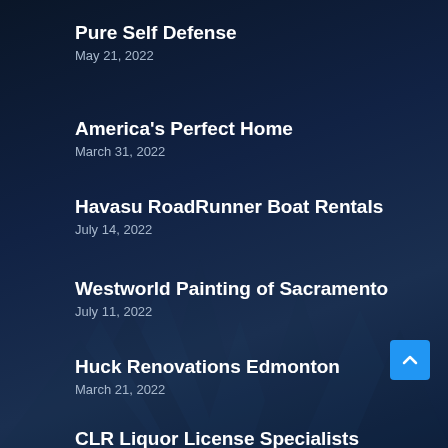Pure Self Defense
May 21, 2022
America's Perfect Home
March 31, 2022
Havasu RoadRunner Boat Rentals
July 14, 2022
Westworld Painting of Sacramento
July 11, 2022
Huck Renovations Edmonton
March 21, 2022
CLR Liquor License Specialists